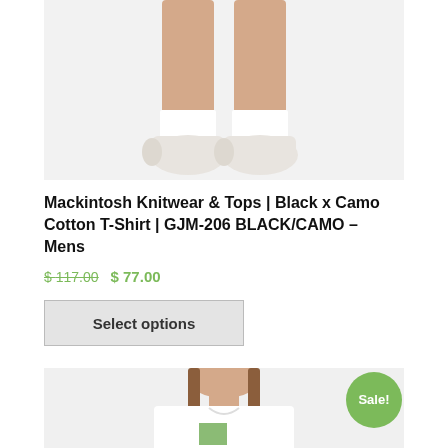[Figure (photo): Close-up of male model's legs and feet from knees down wearing white socks and light beige/off-white sneakers, standing on white background]
Mackintosh Knitwear & Tops | Black x Camo Cotton T-Shirt | GJM-206 BLACK/CAMO – Mens
$ 117.00  $ 77.00
Select options
[Figure (photo): Male model with long hair wearing a white t-shirt, shown from chin to chest, with a Sale! badge overlay]
Sale!